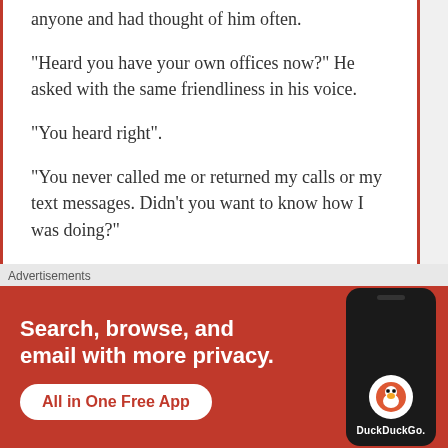anyone and had thought of him often.
“Heard you have your own offices now?” He asked with the same friendliness in his voice.
“You heard right”.
“You never called me or returned my calls or my text messages. Didn’t you want to know how I was doing?”
“No”, she said truthfully.
He laughed. The same infectious laughter, the same easy
Advertisements
[Figure (infographic): DuckDuckGo advertisement banner with orange/red background. Text reads: Search, browse, and email with more privacy. All in One Free App. Shows a smartphone with DuckDuckGo logo.]